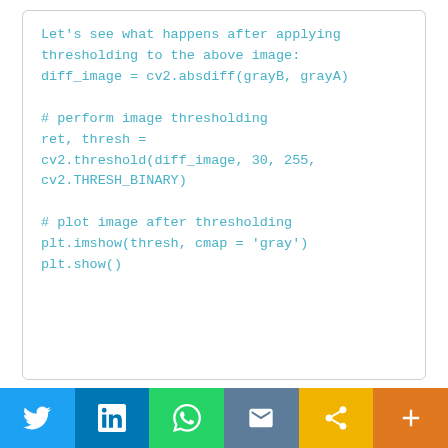Let's see what happens after applying thresholding to the above image:
diff_image = cv2.absdiff(grayB, grayA)

# perform image thresholding
ret, thresh =
cv2.threshold(diff_image, 30, 255,
cv2.THRESH_BINARY)

# plot image after thresholding
plt.imshow(thresh, cmap = 'gray')
plt.show()
[Twitter] [LinkedIn] [WhatsApp] [Email] [Share] [More]